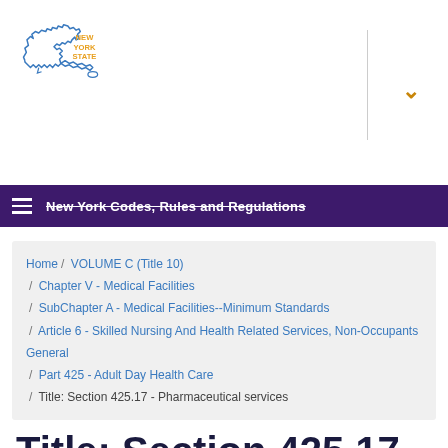[Figure (logo): New York State logo with outline of New York state in blue and 'NEW YORK STATE' text in orange/gold]
New York Codes, Rules and Regulations
Home / VOLUME C (Title 10) / Chapter V - Medical Facilities / SubChapter A - Medical Facilities--Minimum Standards / Article 6 - Skilled Nursing And Health Related Services, Non-Occupants General / Part 425 - Adult Day Health Care / Title: Section 425.17 - Pharmaceutical services
Title: Section 425.17 - Pharmaceutical